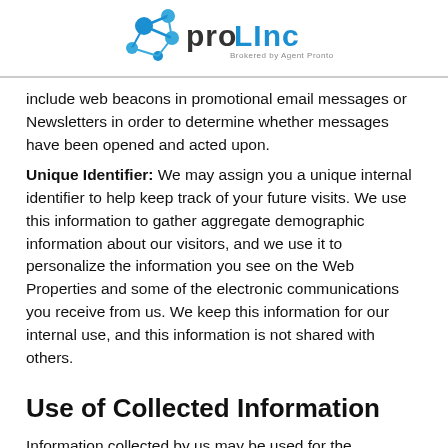[Figure (logo): ProLinc logo with blue molecule/network icon and text 'proLinc Brokered by Agent Pronto']
include web beacons in promotional email messages or Newsletters in order to determine whether messages have been opened and acted upon.
Unique Identifier: We may assign you a unique internal identifier to help keep track of your future visits. We use this information to gather aggregate demographic information about our visitors, and we use it to personalize the information you see on the Web Properties and some of the electronic communications you receive from us. We keep this information for our internal use, and this information is not shared with others.
Use of Collected Information
Information collected by us may be used for the